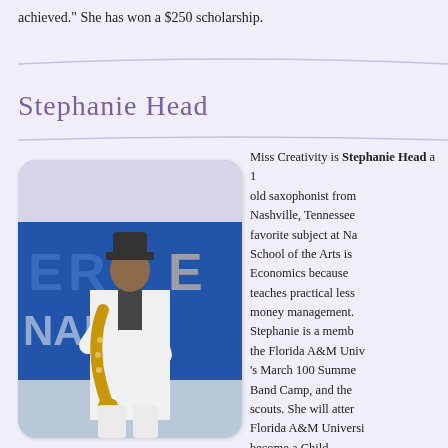achieved." She has won a $250 scholarship.
Stephanie Head
[Figure (photo): Young woman in white suit and black fedora hat playing a saxophone on stage, with a blue banner in the background.]
Miss Creativity is Stephanie Head a 1 old saxophonist from Nashville, Tennessee favorite subject at Na School of the Arts is Economics because teaches practical less money management. Stephanie is a memb the Florida A&M Univ 's March 100 Summe Band Camp, and the scouts. She will atter Florida A&M Universi become a Child Psychologist. St